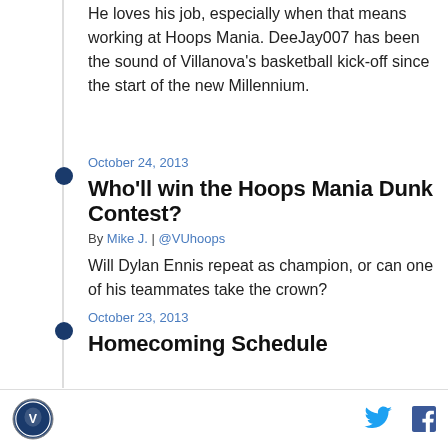He loves his job, especially when that means working at Hoops Mania. DeeJay007 has been the sound of Villanova's basketball kick-off since the start of the new Millennium.
October 24, 2013
Who'll win the Hoops Mania Dunk Contest?
By Mike J. | @VUhoops
Will Dylan Ennis repeat as champion, or can one of his teammates take the crown?
October 23, 2013
Homecoming Schedule
Villanova logo | Twitter | Facebook